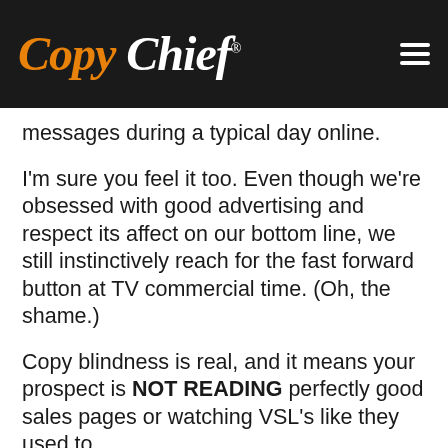[Figure (logo): Copy Chief logo on dark background with hamburger menu icon]
messages during a typical day online.
I'm sure you feel it too. Even though we're obsessed with good advertising and respect its affect on our bottom line, we still instinctively reach for the fast forward button at TV commercial time. (Oh, the shame.)
Copy blindness is real, and it means your prospect is NOT READING perfectly good sales pages or watching VSL's like they used to.
To us, it's a small masterpiece announcing the most important message our prospects will ever consume. To them, it's just... more copy.